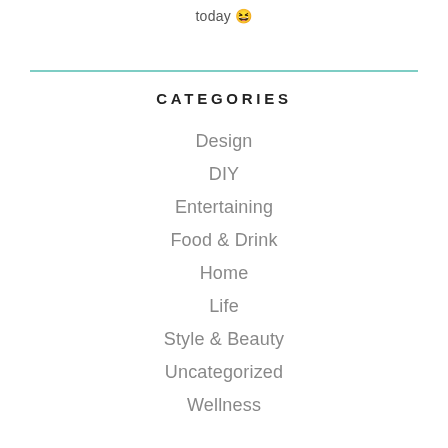today 😆
CATEGORIES
Design
DIY
Entertaining
Food & Drink
Home
Life
Style & Beauty
Uncategorized
Wellness